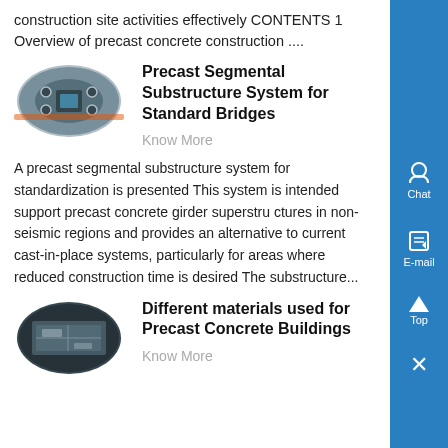construction site activities effectively CONTENTS 1 Overview of precast concrete construction ....
[Figure (photo): Oval-shaped photo of precast concrete bridge component in industrial setting]
Precast Segmental Substructure System for Standard Bridges
Know More
A precast segmental substructure system for standardization is presented This system is intended support precast concrete girder superstru ctures in non-seismic regions and provides an alternative to current cast-in-place systems, particularly for areas where reduced construction time is desired The substructure...
[Figure (photo): Oval-shaped photo of precast concrete building interior]
Different materials used for Precast Concrete Buildings
Know More